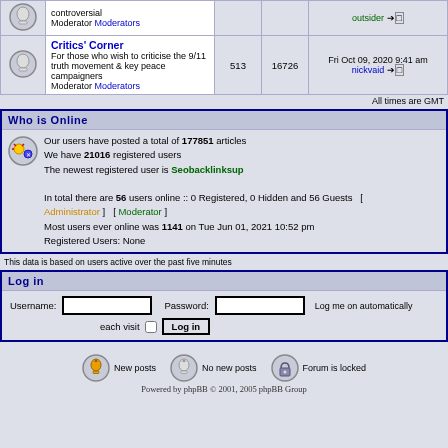|  | Forum | Posts | Topics | Last Post |
| --- | --- | --- | --- | --- |
| [icon] | controversial
Moderator Moderators | ... | ... | outsider → |
| [icon] | Critics' Corner
For those who wish to criticise the 9/11 truth movement & key peace campaigners
Moderator Moderators | 513 | 16726 | Fri Oct 09, 2020 9:41 am
nickvaid → |
All times are GMT
Who is Online
Our users have posted a total of 177851 articles
We have 21016 registered users
The newest registered user is Seobacklinksup
In total there are 56 users online :: 0 Registered, 0 Hidden and 56 Guests   [ Administrator ]   [ Moderator ]
Most users ever online was 1141 on Tue Jun 01, 2021 10:52 pm
Registered Users: None
This data is based on users active over the past five minutes
Log in
Username: [input] Password: [input] Log me on automatically each visit [checkbox] [Log in button]
[Figure (illustration): New posts icon - bell icon in circle]
New posts
[Figure (illustration): No new posts icon - bell icon in circle]
No new posts
[Figure (illustration): Forum is locked icon - padlock in circle]
Forum is locked
Powered by phpBB © 2001, 2005 phpBB Group